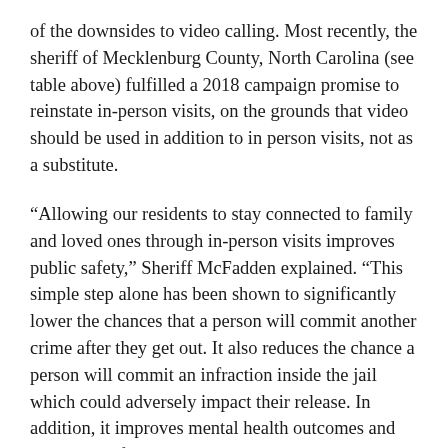of the downsides to video calling. Most recently, the sheriff of Mecklenburg County, North Carolina (see table above) fulfilled a 2018 campaign promise to reinstate in-person visits, on the grounds that video should be used in addition to in person visits, not as a substitute.
“Allowing our residents to stay connected to family and loved ones through in-person visits improves public safety,” Sheriff McFadden explained. “This simple step alone has been shown to significantly lower the chances that a person will commit another crime after they get out. It also reduces the chance a person will commit an infraction inside the jail which could adversely impact their release. In addition, it improves mental health outcomes and strengthens family units and community ties.”